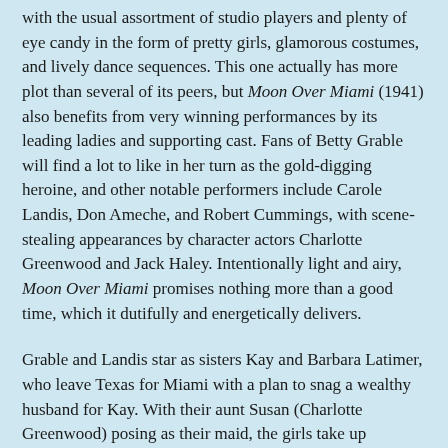with the usual assortment of studio players and plenty of eye candy in the form of pretty girls, glamorous costumes, and lively dance sequences. This one actually has more plot than several of its peers, but Moon Over Miami (1941) also benefits from very winning performances by its leading ladies and supporting cast. Fans of Betty Grable will find a lot to like in her turn as the gold-digging heroine, and other notable performers include Carole Landis, Don Ameche, and Robert Cummings, with scene-stealing appearances by character actors Charlotte Greenwood and Jack Haley. Intentionally light and airy, Moon Over Miami promises nothing more than a good time, which it dutifully and energetically delivers.
Grable and Landis star as sisters Kay and Barbara Latimer, who leave Texas for Miami with a plan to snag a wealthy husband for Kay. With their aunt Susan (Charlotte Greenwood) posing as their maid, the girls take up residence in a posh resort, where Kay soon meets the suitably rich Jeff Boulton (Robert Cummings) and his friend, Phil McNeil (Don Ameche). The two men compete relentlessly for Kay's attention, but Jeff also attracts Barbara's admiration, and Kay has to choose which suitor to lure into a proposal. All the while, the truth about the girls' finances and